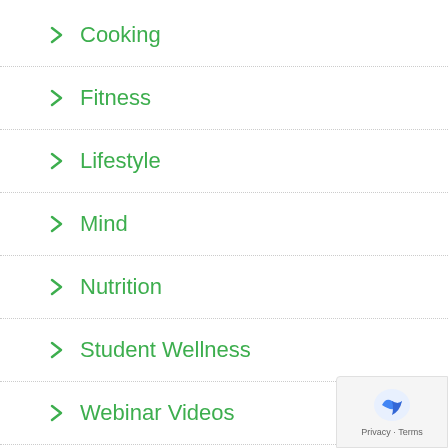Cooking
Fitness
Lifestyle
Mind
Nutrition
Student Wellness
Webinar Videos